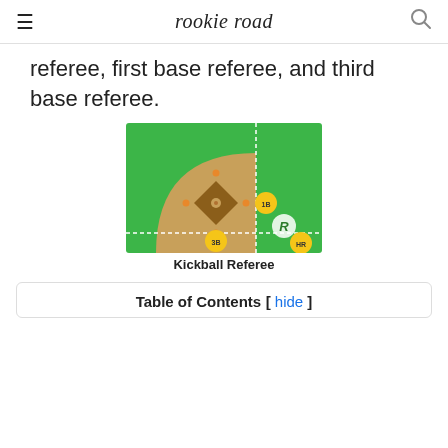rookie road
referee, first base referee, and third base referee.
[Figure (illustration): Kickball field diagram showing a green field with the infield diamond, bases marked with yellow dots labeled 1B, 3B, HR, and the Rookie Road logo in the lower right corner. Dashed white lines show the foul lines and base paths.]
Kickball Referee
Table of Contents [ hide ]